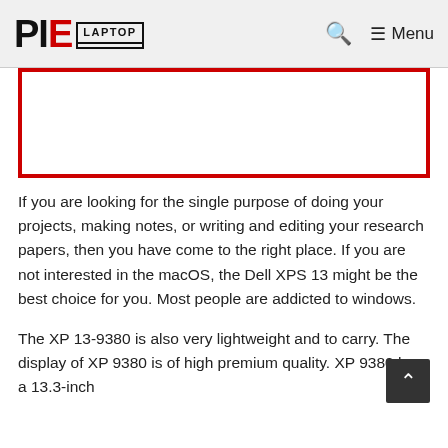PIE LAPTOP — Menu
[Figure (other): Red-bordered rectangular image placeholder (partially visible, cropped at top)]
If you are looking for the single purpose of doing your projects, making notes, or writing and editing your research papers, then you have come to the right place. If you are not interested in the macOS, the Dell XPS 13 might be the best choice for you. Most people are addicted to windows.
The XP 13-9380 is also very lightweight and to carry. The display of XP 9380 is of high premium quality. XP 9380 has a 13.3-inch